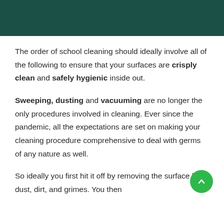The order of school cleaning should ideally involve all of the following to ensure that your surfaces are crisply clean and safely hygienic inside out.
Sweeping, dusting and vacuuming are no longer the only procedures involved in cleaning. Ever since the pandemic, all the expectations are set on making your cleaning procedure comprehensive to deal with germs of any nature as well.
So ideally you first hit it off by removing the surface level dust, dirt, and grimes. You then